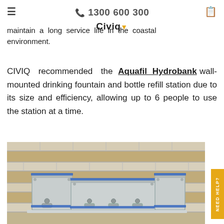≡  ☎ 1300 600 300  🗒
maintain a long service life in the coastal environment.
CIVIQ recommended the Aquafil Hydrobank wall-mounted drinking fountain and bottle refill station due to its size and efficiency, allowing up to 6 people to use the station at a time.
[Figure (photo): Wall-mounted Aquafil Hydrobank stainless steel drinking fountain and bottle refill station mounted on a tiled wall with alternating cream and sandy-coloured brick tiles. The unit shows multiple drinking stations side by side, still with protective blue tape on it.]